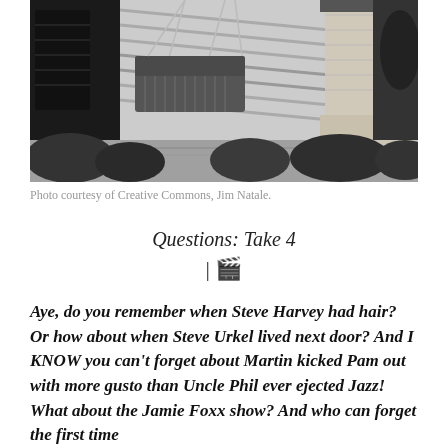[Figure (photo): Black and white photograph of a wooden porch swing hanging by chains on a house porch, with brick columns and shrubs visible in sunlight and shadow.]
Photo courtesy of Creative Commons, Jim Natale.
Questions: Take 4
| 🎬
Aye, do you remember when Steve Harvey had hair? Or how about when Steve Urkel lived next door? And I KNOW you can't forget about Martin kicked Pam out with more gusto than Uncle Phil ever ejected Jazz! What about the Jamie Foxx show? And who can forget the first time